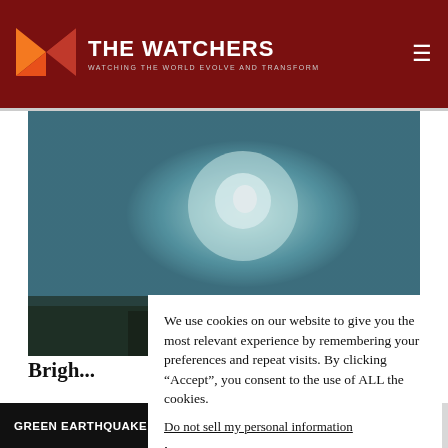THE WATCHERS — WATCHING THE WORLD EVOLVE AND TRANSFORM
[Figure (photo): Blurry outdoor photo showing a bright glowing light in a teal/blue-green hazy sky, with dark silhouetted trees or ground at the bottom.]
We use cookies on our website to give you the most relevant experience by remembering your preferences and repeat visits. By clicking “Accept”, you consent to the use of ALL the cookies.
Do not sell my personal information.
Brigh...
GREEN EARTHQUAKE ALERT (MAGNI